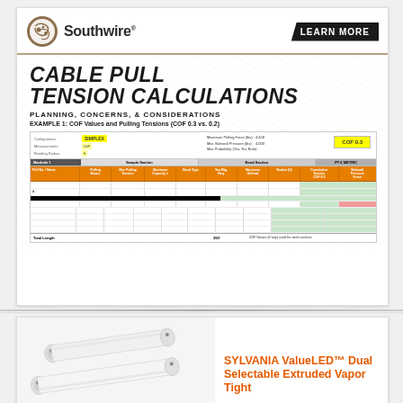[Figure (infographic): Southwire Cable Pull Tension Calculations promotional card with logo, LEARN MORE button, title, subtitle, example label, and a miniature spreadsheet showing COF values and pulling tensions data table.]
[Figure (photo): SYLVANIA ValueLED Dual Selectable Extruded Vapor Tight LED fixture — two elongated white linear LED light fixtures shown diagonally.]
SYLVANIA ValueLED™ Dual Selectable Extruded Vapor Tight